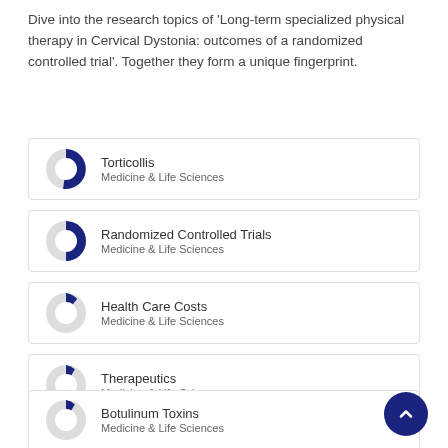Dive into the research topics of 'Long-term specialized physical therapy in Cervical Dystonia: outcomes of a randomized controlled trial'. Together they form a unique fingerprint.
Torticollis — Medicine & Life Sciences
Randomized Controlled Trials — Medicine & Life Sciences
Health Care Costs — Medicine & Life Sciences
Therapeutics — Medicine & Life Sciences
Botulinum Toxins — Medicine & Life Sciences